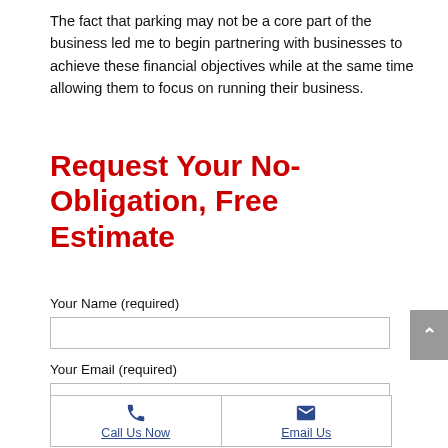The fact that parking may not be a core part of the business led me to begin partnering with businesses to achieve these financial objectives while at the same time allowing them to focus on running their business.
Request Your No-Obligation, Free Estimate
Your Name (required)
Your Email (required)
Your Phone # (optional)
Call Us Now
Email Us